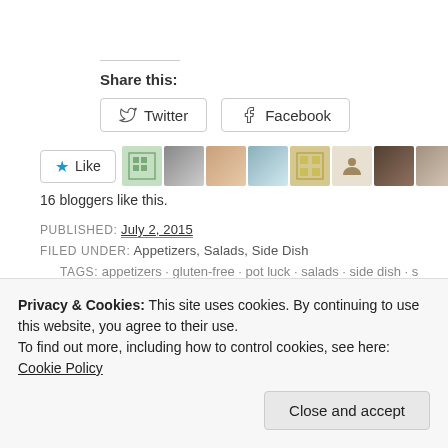Share this:
Twitter  Facebook
Like  16 bloggers like this.
PUBLISHED: July 2, 2015
FILED UNDER: Appetizers, Salads, Side Dish
TAGS: appetizers · gluten-free · pot luck · salads · side dish · s…
Privacy & Cookies: This site uses cookies. By continuing to use this website, you agree to their use. To find out more, including how to control cookies, see here: Cookie Policy
Close and accept